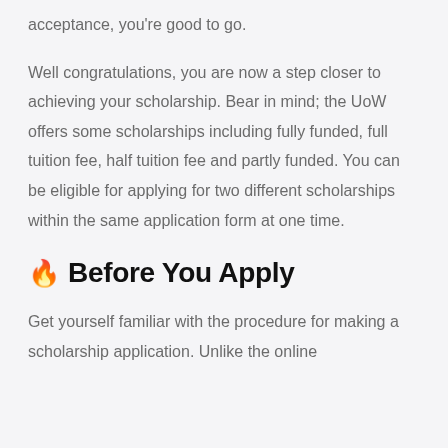acceptance, you're good to go.
Well congratulations, you are now a step closer to achieving your scholarship. Bear in mind; the UoW offers some scholarships including fully funded, full tuition fee, half tuition fee and partly funded. You can be eligible for applying for two different scholarships within the same application form at one time.
🔥 Before You Apply
Get yourself familiar with the procedure for making a scholarship application. Unlike the online